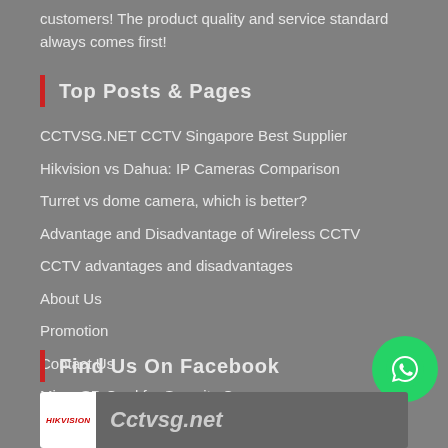customers! The product quality and service standard always comes first!
Top Posts & Pages
CCTVSG.NET CCTV Singapore Best Supplier
Hikvision vs Dahua: IP Cameras Comparison
Turret vs dome camera, which is better?
Advantage and Disadvantage of Wireless CCTV
CCTV advantages and disadvantages
About Us
Promotion
Contact Us
Micro SD Card for Security Camera
Should you install CCTV to monitor maid?
Find Us On Facebook
[Figure (screenshot): Hikvision / Cctvsg.net Facebook page preview thumbnail with logo and text]